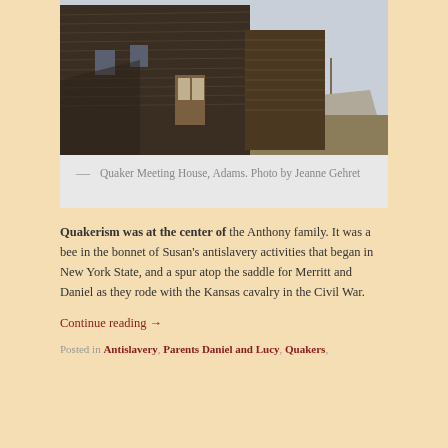[Figure (photo): Photograph of a wooden Quaker Meeting House building in Adams, taken from an angle showing the side and front facade with bare trees in the background.]
— Quaker Meeting House, Adams. Photo by Jeanne Gehret
Quakerism was at the center of the Anthony family. It was a bee in the bonnet of Susan's antislavery activities that began in New York State, and a spur atop the saddle for Merritt and Daniel as they rode with the Kansas cavalry in the Civil War.
Continue reading →
Posted in Antislavery, Parents Daniel and Lucy, Quakers,